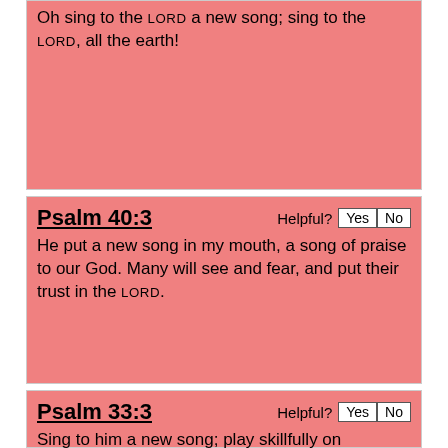Oh sing to the LORD a new song; sing to the LORD, all the earth!
Psalm 40:3
He put a new song in my mouth, a song of praise to our God. Many will see and fear, and put their trust in the LORD.
Psalm 33:3
Sing to him a new song; play skillfully on